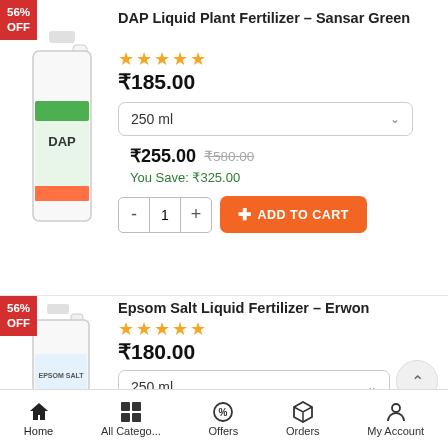[Figure (photo): DAP Liquid Plant Fertilizer bottle (large white jug with colorful label) with red 56% OFF badge]
DAP Liquid Plant Fertilizer – Sansar Green
★★★★★
₹185.00
250 ml
₹255.00  ₹580.00
You Save: ₹325.00
- 1 + ADD TO CART
[Figure (photo): Epsom Salt Liquid Fertilizer bottle (white jug with label) with red 56% OFF badge]
Epsom Salt Liquid Fertilizer – Erwon
★★★★★
₹180.00
250 ml
Home  All Catego...  Offers  Orders  My Account